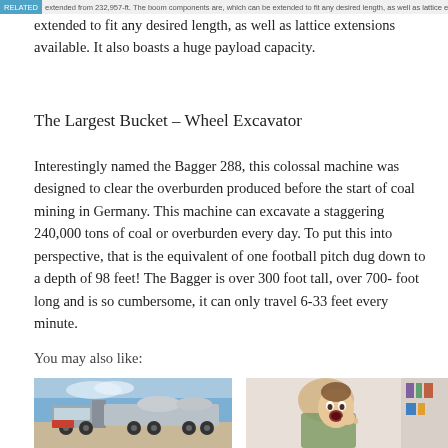extended from 232,957-ft. The boom components are, which can be extended to fit any desired length, as well as lattice extensions available. It also boasts a huge payload capacity.
The Largest Bucket – Wheel Excavator
Interestingly named the Bagger 288, this colossal machine was designed to clear the overburden produced before the start of coal mining in Germany. This machine can excavate a staggering 240,000 tons of coal or overburden every day. To put this into perspective, that is the equivalent of one football pitch dug down to a depth of 98 feet! The Bagger is over 300 foot tall, over 700- foot long and is so cumbersome, it can only travel 6-33 feet every minute.
You may also like:
[Figure (photo): A large semi-truck with a shiny metallic tanker trailer parked outdoors under a partly cloudy sky.]
[Figure (photo): A person holding a yawning baby, with a colorful background visible.]